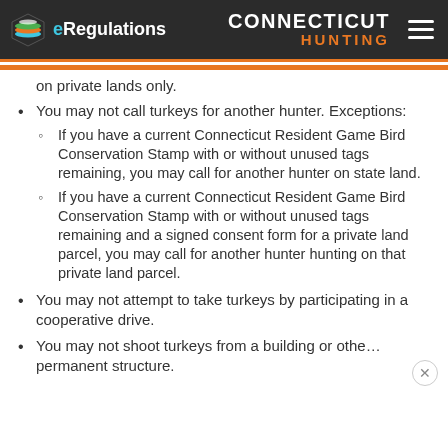eRegulations | CONNECTICUT HUNTING
on private lands only.
You may not call turkeys for another hunter. Exceptions:
If you have a current Connecticut Resident Game Bird Conservation Stamp with or without unused tags remaining, you may call for another hunter on state land.
If you have a current Connecticut Resident Game Bird Conservation Stamp with or without unused tags remaining and a signed consent form for a private land parcel, you may call for another hunter hunting on that private land parcel.
You may not attempt to take turkeys by participating in a cooperative drive.
You may not shoot turkeys from a building or other permanent structure.